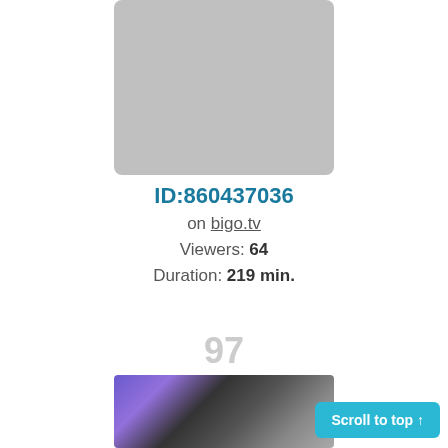[Figure (photo): Gray placeholder thumbnail image]
ID:860437036
on bigo.tv
Viewers: 64
Duration: 219 min.
97
[Figure (photo): Photo of two men, one with purple hair and sunglasses in foreground, one wearing a cap and red sunglasses in background]
Scroll to top ↑